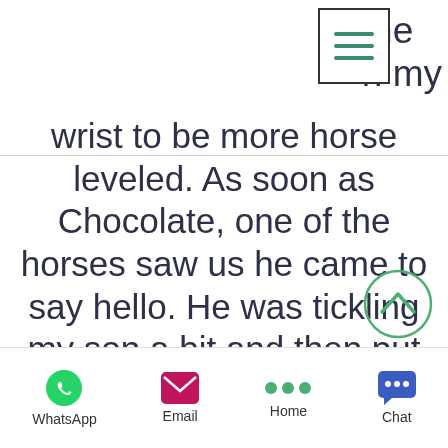[Figure (screenshot): Hamburger menu icon (three horizontal green lines) in a rectangular border, top right area of navigation bar]
the
n my
wrist to be more horse leveled. As soon as Chocolate, one of the horses saw us he came to say hello. He was tickling my son a bit and then put his head straight to my stomach as he new that there was pain.
From one moment to the other the pain just fell off of me. It all left. I was so
[Figure (other): Scroll-to-top circular button with upward chevron in green outline circle]
[Figure (screenshot): Bottom navigation bar with WhatsApp, Email, Home (three dots), and Chat icons with labels]